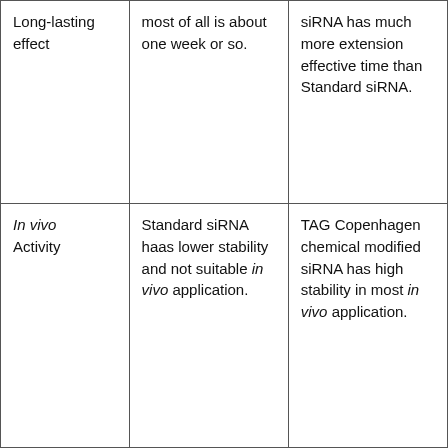| Long-lasting effect | most of all is about one week or so. | siRNA has much more extension effective time than Standard siRNA. |
| In vivo Activity | Standard siRNA haas lower stability and not suitable in vivo application. | TAG Copenhagen chemical modified siRNA has high stability in most in vivo application. |